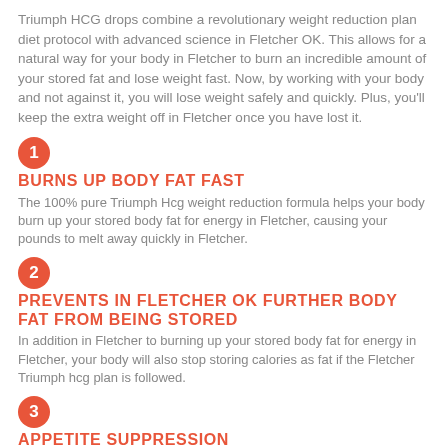Triumph HCG drops combine a revolutionary weight reduction plan diet protocol with advanced science in Fletcher OK. This allows for a natural way for your body in Fletcher to burn an incredible amount of your stored fat and lose weight fast. Now, by working with your body and not against it, you will lose weight safely and quickly. Plus, you'll keep the extra weight off in Fletcher once you have lost it.
1 BURNS UP BODY FAT FAST
The 100% pure Triumph Hcg weight reduction formula helps your body burn up your stored body fat for energy in Fletcher, causing your pounds to melt away quickly in Fletcher.
2 PREVENTS IN FLETCHER OK FURTHER BODY FAT FROM BEING STORED
In addition in Fletcher to burning up your stored body fat for energy in Fletcher, your body will also stop storing calories as fat if the Fletcher Triumph hcg plan is followed.
3 APPETITE SUPPRESSION